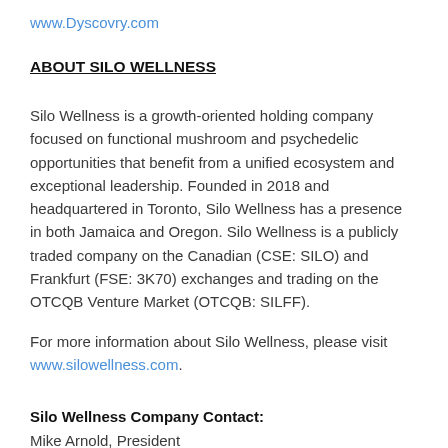www.Dyscovry.com
ABOUT SILO WELLNESS
Silo Wellness is a growth-oriented holding company focused on functional mushroom and psychedelic opportunities that benefit from a unified ecosystem and exceptional leadership. Founded in 2018 and headquartered in Toronto, Silo Wellness has a presence in both Jamaica and Oregon. Silo Wellness is a publicly traded company on the Canadian (CSE: SILO) and Frankfurt (FSE: 3K70) exchanges and trading on the OTCQB Venture Market (OTCQB: SILFF).
For more information about Silo Wellness, please visit www.silowellness.com.
Silo Wellness Company Contact:
Mike Arnold, President